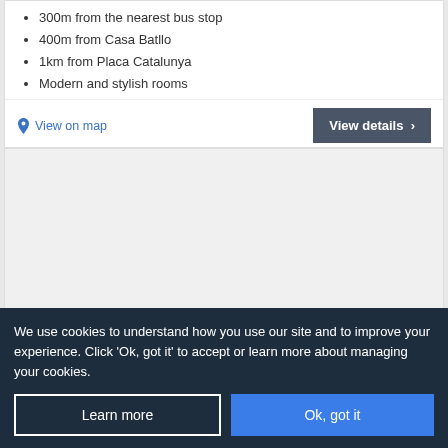300m from the nearest bus stop
400m from Casa Batllo
1km from Placa Catalunya
Modern and stylish rooms
View on map
View details ›
[Figure (other): Hotel image placeholder area, light gray background]
We use cookies to understand how you use our site and to improve your experience. Click 'Ok, got it' to accept or learn more about managing your cookies.
Learn more
Ok, got it